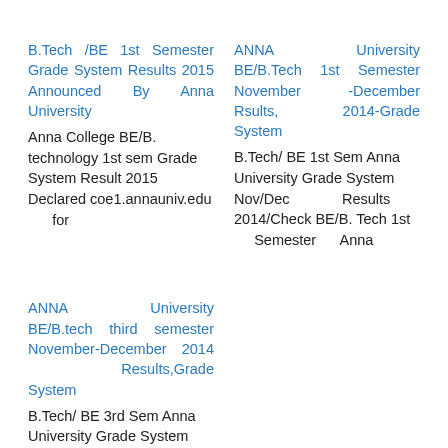B.Tech /BE 1st Semester Grade System Results 2015 Announced By Anna University
Anna College BE/B. technology 1st sem Grade System Result 2015 Declared coe1.annauniv.edu for
ANNA University BE/B.Tech 1st Semester November -December Rsults, 2014-Grade System
B.Tech/ BE 1st Sem Anna University Grade System Nov/Dec Results 2014/Check BE/B. Tech 1st Semester Anna
ANNA University BE/B.tech third semester November-December 2014 Results,Grade System
B.Tech/ BE 3rd Sem Anna University Grade System Nov/Dec Results 2014/Check BE/B.